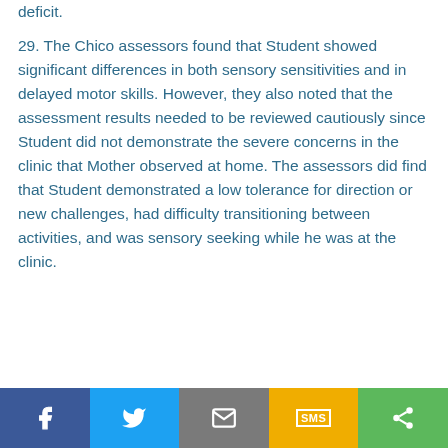deficit.
29. The Chico assessors found that Student showed significant differences in both sensory sensitivities and in delayed motor skills. However, they also noted that the assessment results needed to be reviewed cautiously since Student did not demonstrate the severe concerns in the clinic that Mother observed at home. The assessors did find that Student demonstrated a low tolerance for direction or new challenges, had difficulty transitioning between activities, and was sensory seeking while he was at the clinic.
[Figure (other): Social sharing bar with Facebook, Twitter, Email, SMS, and Share buttons]